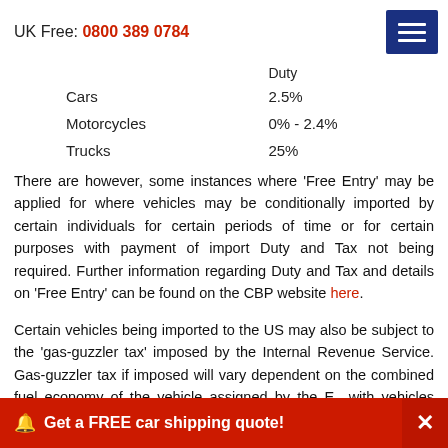UK Free: 0800 389 0784
|  | Duty |
| --- | --- |
| Cars | 2.5% |
| Motorcycles | 0% - 2.4% |
| Trucks | 25% |
There are however, some instances where 'Free Entry' may be applied for where vehicles may be conditionally imported by certain individuals for certain periods of time or for certain purposes with payment of import Duty and Tax not being required. Further information regarding Duty and Tax and details on 'Free Entry' can be found on the CBP website here.
Certain vehicles being imported to the US may also be subject to the 'gas-guzzler tax' imposed by the Internal Revenue Service. Gas-guzzler tax if imposed will vary dependent on the combined fuel economy of the vehicle assigned by the E with vehicles that 22.5 miles per gallon being exempt from gas-guzzler tax. Please note that the EPA assigned fuel economy of a vehicle